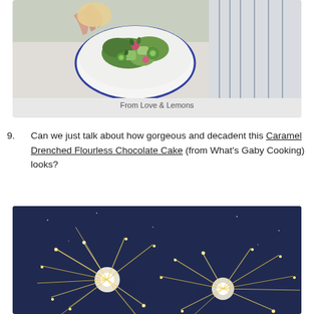[Figure (photo): Overhead photo of a white bowl with blue rim containing a green salad with avocado, cucumber, radish, and herbs. A hand holds a chip over the bowl. A striped towel is visible in the background.]
From Love & Lemons
9. Can we just talk about how gorgeous and decadent this Caramel Drenched Flourless Chocolate Cake (from What’s Gaby Cooking) looks?
[Figure (photo): Dark background photo of sparklers with bright golden sparks, lit against a dark blue night background.]